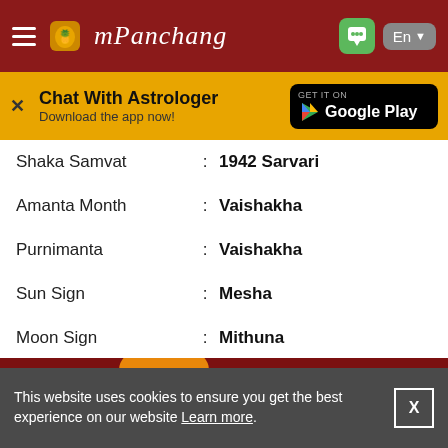mPanchang
[Figure (screenshot): Chat With Astrologer banner with Google Play download button]
| Field |  | Value |
| --- | --- | --- |
| Shaka Samvat | : | 1942 Sarvari |
| Amanta Month | : | Vaishakha |
| Purnimanta | : | Vaishakha |
| Sun Sign | : | Mesha |
| Moon Sign | : | Mithuna |
| Paksha | : | Shukla |
[Figure (screenshot): App icons partially visible at bottom]
This website uses cookies to ensure you get the best experience on our website Learn more.